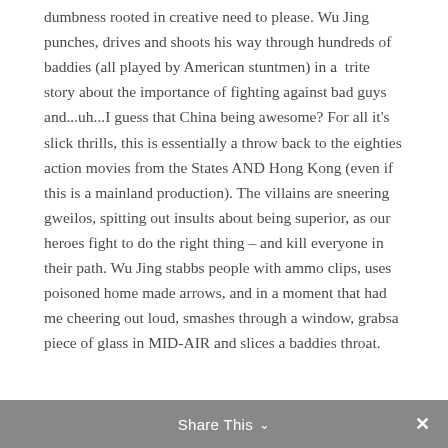dumbness rooted in creative need to please. Wu Jing punches, drives and shoots his way through hundreds of baddies (all played by American stuntmen) in a  trite story about the importance of fighting against bad guys and...uh...I guess that China being awesome? For all it's slick thrills, this is essentially a throw back to the eighties action movies from the States AND Hong Kong (even if this is a mainland production). The villains are sneering gweilos, spitting out insults about being superior, as our heroes fight to do the right thing – and kill everyone in their path. Wu Jing stabbs people with ammo clips, uses poisoned home made arrows, and in a moment that had me cheering out loud, smashes through a window, grabsa piece of glass in MID-AIR and slices a baddies throat.
Share This ∨  ✕